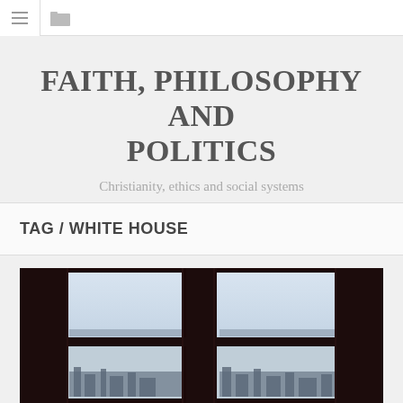☰ 🗀
FAITH, PHILOSOPHY AND POLITICS
Christianity, ethics and social systems
TAG / WHITE HOUSE
[Figure (photo): Interior view through a large window with dark wooden frames, looking out at a city skyline under a pale blue-grey sky. The window has two panes — upper showing open sky and lower showing a closer cityscape silhouette.]